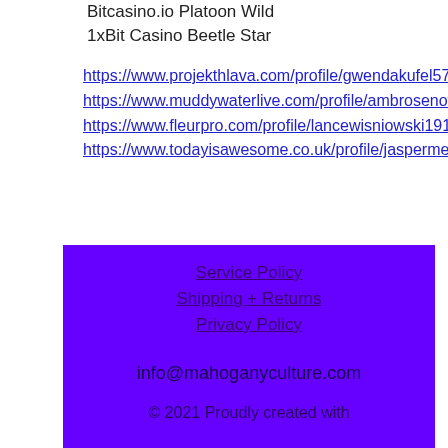Bitcasino.io Platoon Wild
1xBit Casino Beetle Star
https://www.projekthlava.com/profile/gwendakufel5748626/profile https://www.muddywaterlive.com/profile/ambrosenova3427455/profile https://www.fleurpro.com/profile/lancewisniowski19140888/profile https://www.todayisawesome.co.uk/profile/jaspermeinders14551808/profile
Service Policy
Shipping + Returns
Privacy Policy
info@mahoganyculture.com
© 2021 Proudly created with